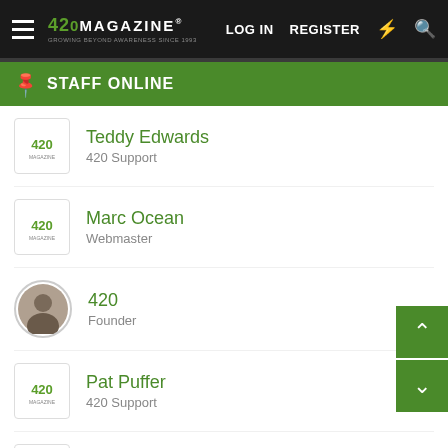420 MAGAZINE | LOG IN | REGISTER
STAFF ONLINE
Teddy Edwards
420 Support
Marc Ocean
Webmaster
420
Founder
Pat Puffer
420 Support
Dwight Monk
420 Support
Emilya Green
Product Reviewer